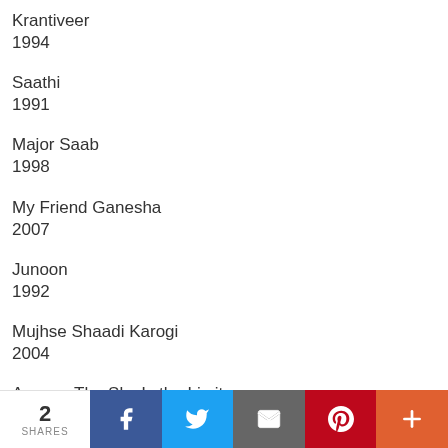Krantiveer
1994
Saathi
1991
Major Saab
1998
My Friend Ganesha
2007
Junoon
1992
Mujhse Shaadi Karogi
2004
Aasma: The Sky Is the Limit
2 SHARES  Facebook  Twitter  Email  Pinterest  More